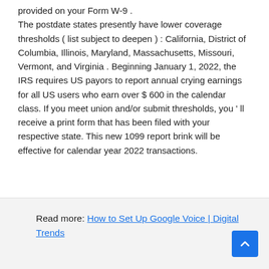provided on your Form W-9 . The postdate states presently have lower coverage thresholds ( list subject to deepen ) : California, District of Columbia, Illinois, Maryland, Massachusetts, Missouri, Vermont, and Virginia . Beginning January 1, 2022, the IRS requires US payors to report annual crying earnings for all US users who earn over $ 600 in the calendar class. If you meet union and/or submit thresholds, you ' ll receive a print form that has been filed with your respective state. This new 1099 report brink will be effective for calendar year 2022 transactions.
Read more: How to Set Up Google Voice | Digital Trends